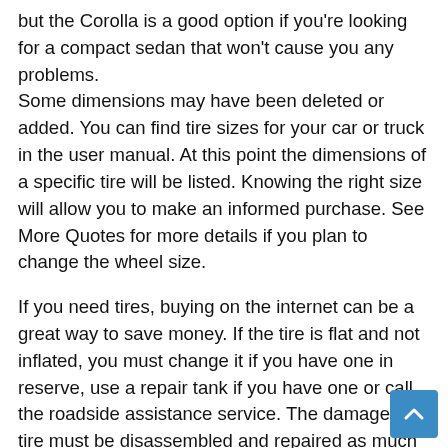but the Corolla is a good option if you're looking for a compact sedan that won't cause you any problems. Some dimensions may have been deleted or added. You can find tire sizes for your car or truck in the user manual. At this point the dimensions of a specific tire will be listed. Knowing the right size will allow you to make an informed purchase. See More Quotes for more details if you plan to change the wheel size.
If you need tires, buying on the internet can be a great way to save money. If the tire is flat and not inflated, you must change it if you have one in reserve, use a repair tank if you have one or call the roadside assistance service. The damaged tire must be disassembled and repaired as much as possible. More information on the subject of the tire load index Dunlop also supplies high-thrust tires. If you don't know which tire is, you will need to check them all. Maybe you're looking for cheap tires and wheels for sale, but on TireCrazy you get something bigger. If you are interested in of wheels and tires, you will also receive free shipping. Wheels that are not centered are called lugwheels because centering is